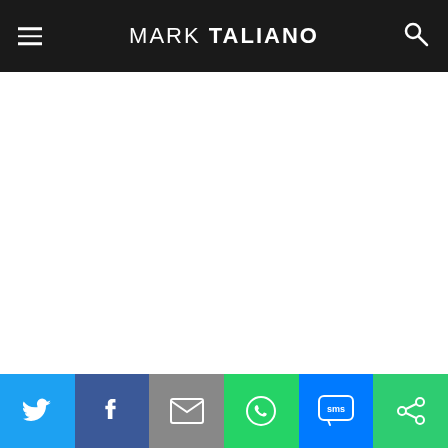MARK TALIANO
[Figure (other): Large blank white content area, likely where an image or advertisement was displayed]
After the dissolution of the Soviet Union, which turned into
[Figure (infographic): Social sharing bar with six buttons: Twitter (blue bird), Facebook (dark blue f), Email (grey envelope), WhatsApp (green speech bubble), SMS (blue SMS bubble), and a green share icon]